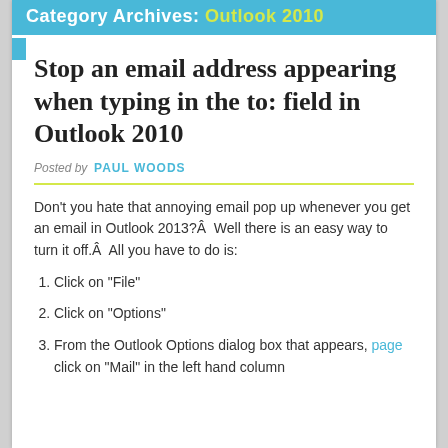Category Archives: Outlook 2010
Stop an email address appearing when typing in the to: field in Outlook 2010
Posted by PAUL WOODS
Don't you hate that annoying email pop up whenever you get an email in Outlook 2013?Â  Well there is an easy way to turn it off.Â  All you have to do is:
Click on “File”
Click on “Options”
From the Outlook Options dialog box that appears, page click on “Mail” in the left hand column